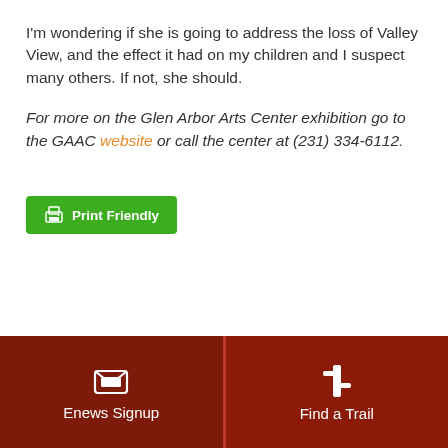I'm wondering if she is going to address the loss of Valley View, and the effect it had on my children and I suspect many others. If not, she should.
For more on the Glen Arbor Arts Center exhibition go to the GAAC website or call the center at (231) 334-6112.
[Figure (other): Green Print Friendly button with printer icon]
[Figure (other): Dark red footer bar with Enews Signup (envelope icon) on left and Find a Trail (trail sign icon) on right]